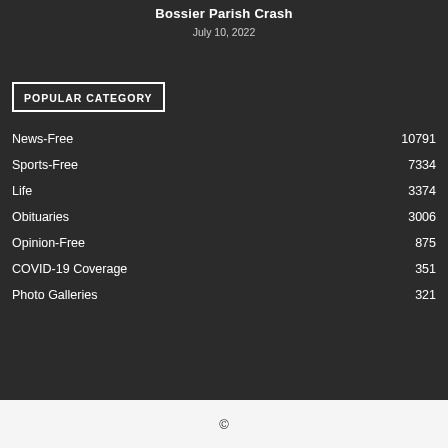Bossier Parish Crash
July 10, 2022
POPULAR CATEGORY
News-Free 10791
Sports-Free 7334
Life 3374
Obituaries 3006
Opinion-Free 875
COVID-19 Coverage 351
Photo Galleries 321
©